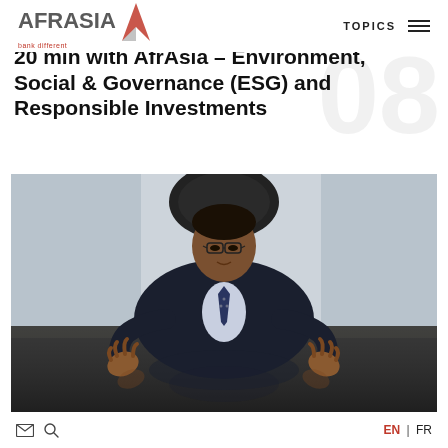AFRASIA bank different | TOPICS
20 min with AfrAsia – Environment, Social & Governance (ESG) and Responsible Investments
[Figure (photo): A man in a dark business suit and tie sits at a glass desk gesturing with both hands, in a professional office setting. The photo has a reflection effect on the glossy desk surface.]
EN | FR